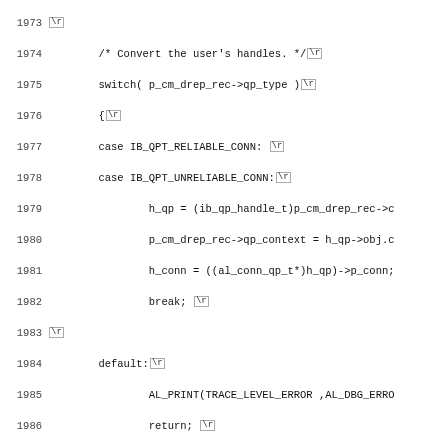Source code listing lines 1973–2005, showing C code for connection management with switch statement on qp_type, handle timewait comment, connection teardown, and callback invocation.